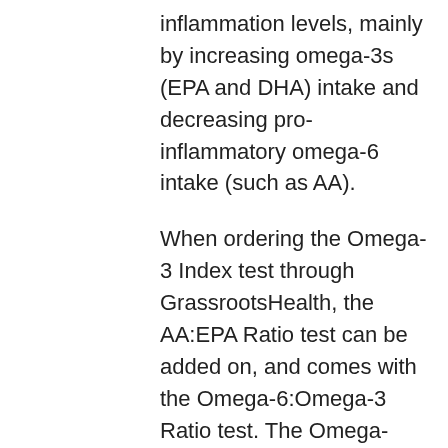inflammation levels, mainly by increasing omega-3s (EPA and DHA) intake and decreasing pro-inflammatory omega-6 intake (such as AA).
When ordering the Omega-3 Index test through GrassrootsHealth, the AA:EPA Ratio test can be added on, and comes with the Omega-6:Omega-3 Ratio test. The Omega-6:Omega-3 Ratio test is another way to measure the amount of bad fats to healthy fats in the body. Both tests can provide guidance to specific dietary changes that could support improvements in chronic